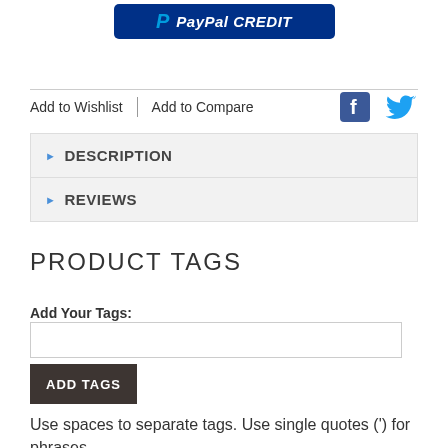[Figure (logo): PayPal CREDIT button with blue background, PayPal logo P and italic text CREDIT in white]
Add to Wishlist  |  Add to Compare
[Figure (illustration): Facebook and Twitter social media icons in blue]
DESCRIPTION
REVIEWS
PRODUCT TAGS
Add Your Tags:
ADD TAGS
Use spaces to separate tags. Use single quotes (') for phrases.